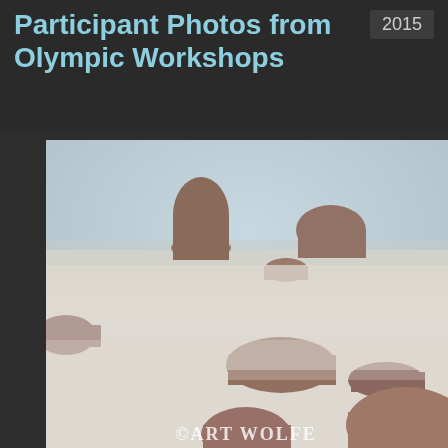Participant Photos from Olympic Workshops
2015
[Figure (photo): Long-exposure misty coastal seascape with rocky sea stacks and boulders emerging from smooth milky water and fog, creating a serene ethereal scene. Watermark reads © ART WOLFE at bottom.]